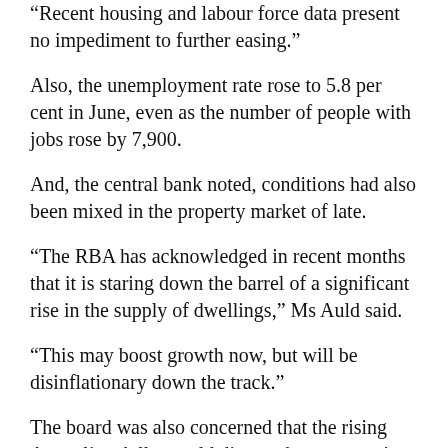“Recent housing and labour force data present no impediment to further easing.”
Also, the unemployment rate rose to 5.8 per cent in June, even as the number of people with jobs rose by 7,900.
And, the central bank noted, conditions had also been mixed in the property market of late.
“The RBA has acknowledged in recent months that it is staring down the barrel of a significant rise in the supply of dwellings,” Ms Auld said.
“This may boost growth now, but will be disinflationary down the track.”
The board was also concerned that the rising Australian dollar could disrupt the economy’s transition away from non-mining led growth.
But CommSec economist Savanth Sebastian warned that a rate cut may not have the desired effect of driving the currency down.